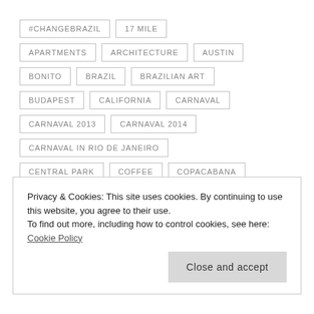#CHANGEBRAZIL
17 MILE
APARTMENTS
ARCHITECTURE
AUSTIN
BONITO
BRAZIL
BRAZILIAN ART
BUDAPEST
CALIFORNIA
CARNAVAL
CARNAVAL 2013
CARNAVAL 2014
CARNAVAL IN RIO DE JANEIRO
CENTRAL PARK
COFFEE
COPACABANA
Privacy & Cookies: This site uses cookies. By continuing to use this website, you agree to their use.
To find out more, including how to control cookies, see here: Cookie Policy
ENTREPRENEURSHIP
GAVEA